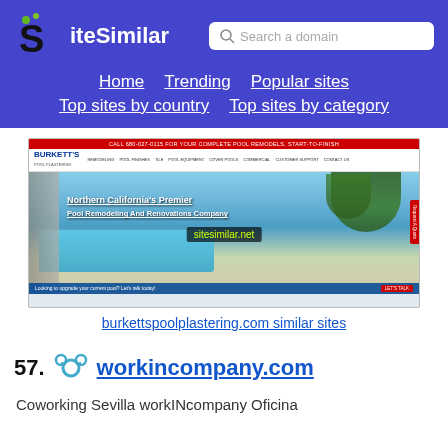SiteSimilar — Search a domain — Home | Trending | Popular sites | Top sites by country | Top sites by category
[Figure (screenshot): Screenshot of burkettspoolplastering.com showing a Northern California pool remodeling company website with a red header bar, navigation menu, pool photo, and overlay text 'Northern California's Premier Pool Remodeling And Renovations Company' with sitesimilar.net watermark]
burkettspoolplastering.com similar sites
57.  workincompany.com
Coworking Sevilla workINcompany Oficina